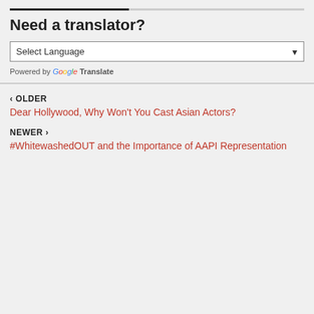Need a translator?
Select Language
Powered by Google Translate
‹ OLDER
Dear Hollywood, Why Won't You Cast Asian Actors?
NEWER ›
#WhitewashedOUT and the Importance of AAPI Representation